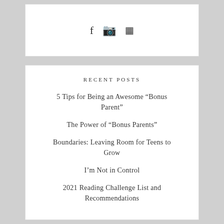[Figure (other): Social media icons: Facebook, Instagram, YouTube]
RECENT POSTS
5 Tips for Being an Awesome “Bonus Parent”
The Power of “Bonus Parents”
Boundaries: Leaving Room for Teens to Grow
I’m Not in Control
2021 Reading Challenge List and Recommendations